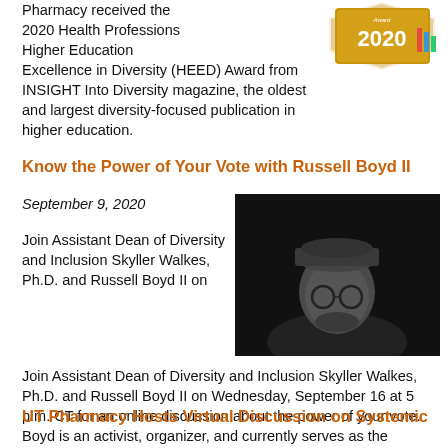Pharmacy received the 2020 Health Professions Higher Education Excellence in Diversity (HEED) Award from INSIGHT Into Diversity magazine, the oldest and largest diversity-focused publication in higher education.
[Figure (illustration): HEED Award 2020 logo badge in gold with colorful bar accents]
Know the Power of Your Vote with Russell Boyd II
September 9, 2020
[Figure (photo): Black and white portrait photograph of Russell Boyd II, a man wearing a flat cap and glasses, against a dark background]
Join Assistant Dean of Diversity and Inclusion Skyller Walkes, Ph.D. and Russell Boyd II on Wednesday, September 16 at 5 p.m. CT for an online discussion about the power of your vote. Boyd is an activist, organizer, and currently serves as the National Field Organizer with the NAACP Youth & College Division.
UT Pharmacy Hosts Virtual Discussion on Systemic